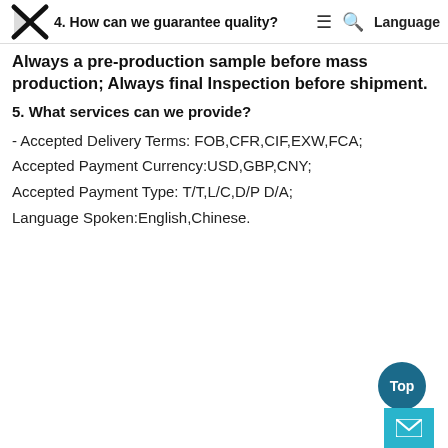4. How can we guarantee quality? ≡ 🔍 Language
Always a pre-production sample before mass production; Always final Inspection before shipment.
5. What services can we provide?
- Accepted Delivery Terms: FOB,CFR,CIF,EXW,FCA; Accepted Payment Currency:USD,GBP,CNY; Accepted Payment Type: T/T,L/C,D/P D/A; Language Spoken:English,Chinese.